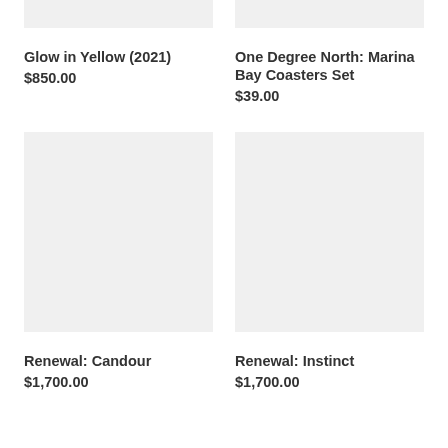[Figure (photo): Light gray placeholder image for Glow in Yellow (2021) product, top portion cropped]
Glow in Yellow (2021)
$850.00
[Figure (photo): Light gray placeholder image for One Degree North: Marina Bay Coasters Set product, top portion cropped]
One Degree North: Marina Bay Coasters Set
$39.00
[Figure (photo): Light gray placeholder image for Renewal: Candour product]
Renewal: Candour
$1,700.00
[Figure (photo): Light gray placeholder image for Renewal: Instinct product]
Renewal: Instinct
$1,700.00